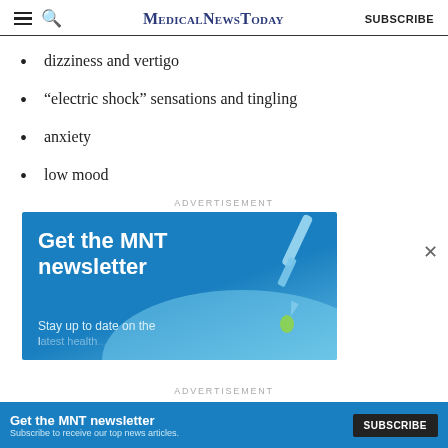MedicalNewsToday  SUBSCRIBE
dizziness and vertigo
“electric shock” sensations and tingling
anxiety
low mood
ADVERTISEMENT
[Figure (illustration): MNT newsletter advertisement banner with dropper and liquid graphic. Text: Get the MNT newsletter. Stay up to date on the latest health...]
ADVERTISEMENT
[Figure (illustration): Bottom bar ad: Get the MNT newsletter. Subscribe to receive our top news articles. SUBSCRIBE button.]